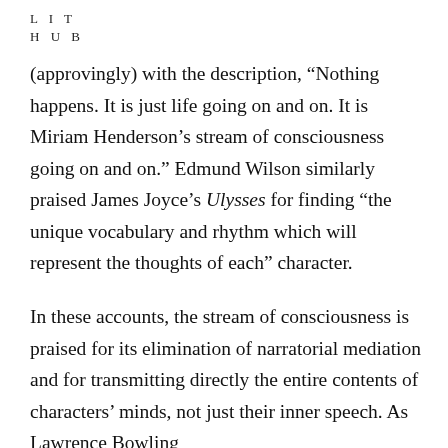L I T
H U B
(approvingly) with the description, “Nothing happens. It is just life going on and on. It is Miriam Henderson’s stream of consciousness going on and on.” Edmund Wilson similarly praised James Joyce’s Ulysses for finding “the unique vocabulary and rhythm which will represent the thoughts of each” character.
In these accounts, the stream of consciousness is praised for its elimination of narratorial mediation and for transmitting directly the entire contents of characters’ minds, not just their inner speech. As Lawrence Bowling